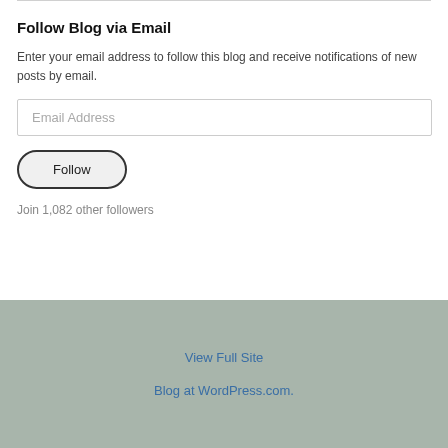Follow Blog via Email
Enter your email address to follow this blog and receive notifications of new posts by email.
Email Address
Follow
Join 1,082 other followers
View Full Site
Blog at WordPress.com.